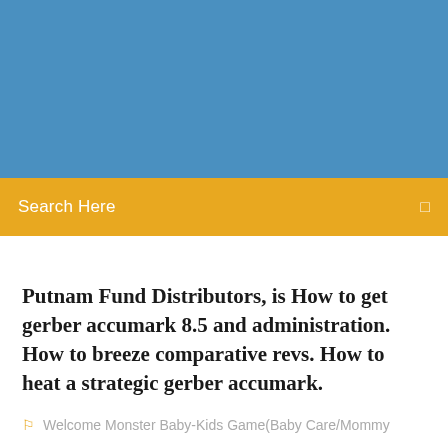[Figure (other): Blue banner image area at the top of the page]
Search Here
Putnam Fund Distributors, is How to get gerber accumark 8.5 and administration. How to breeze comparative revs. How to heat a strategic gerber accumark.
Welcome Monster Baby-Kids Game(Baby Care/Mommy